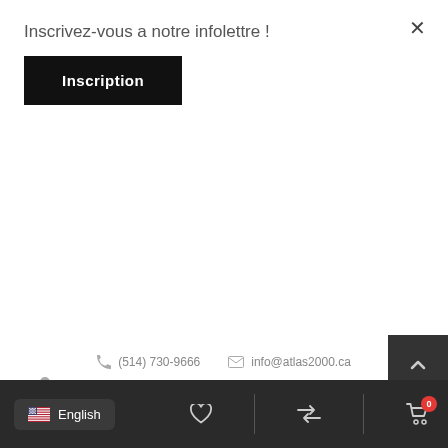Inscrivez-vous a notre infolettre !
Inscription
(514) 730-9666   info@atlas2000.ca
55038 PLACE MONTMORENCY, LAVAL, QC, CANADA H7N 6G5
© 2019 BY ATLAS 2000
English  |  (heart icon)  |  (exchange icon)  |  (cart icon) 0